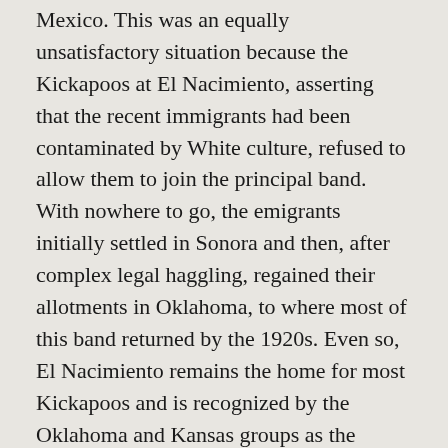Mexico. This was an equally unsatisfactory situation because the Kickapoos at El Nacimiento, asserting that the recent immigrants had been contaminated by White culture, refused to allow them to join the principal band. With nowhere to go, the emigrants initially settled in Sonora and then, after complex legal haggling, regained their allotments in Oklahoma, to where most of this band returned by the 1920s. Even so, El Nacimiento remains the home for most Kickapoos and is recognized by the Oklahoma and Kansas groups as the repository of all that is truly Kickapoo.
The Kickapoos did not legally hold title to land in Texas until 1985, but because they have traditionally camped near the international bridge between Piedras